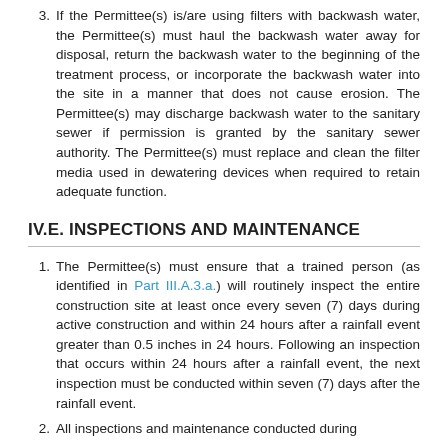3. If the Permittee(s) is/are using filters with backwash water, the Permittee(s) must haul the backwash water away for disposal, return the backwash water to the beginning of the treatment process, or incorporate the backwash water into the site in a manner that does not cause erosion. The Permittee(s) may discharge backwash water to the sanitary sewer if permission is granted by the sanitary sewer authority. The Permittee(s) must replace and clean the filter media used in dewatering devices when required to retain adequate function.
IV.E. INSPECTIONS AND MAINTENANCE
1. The Permittee(s) must ensure that a trained person (as identified in Part III.A.3.a.) will routinely inspect the entire construction site at least once every seven (7) days during active construction and within 24 hours after a rainfall event greater than 0.5 inches in 24 hours. Following an inspection that occurs within 24 hours after a rainfall event, the next inspection must be conducted within seven (7) days after the rainfall event.
2. All inspections and maintenance conducted during